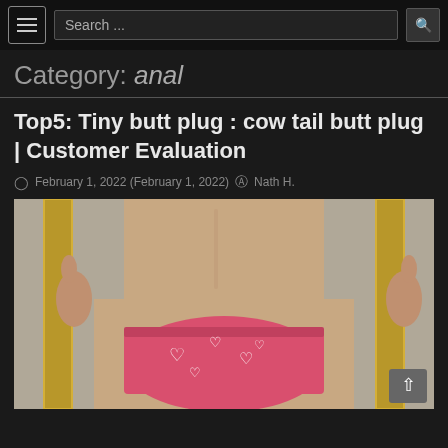Search ...
Category: anal
Top5: Tiny butt plug : cow tail butt plug | Customer Evaluation
February 1, 2022 (February 1, 2022)  Nath H.
[Figure (photo): Person from behind wearing pink heart-pattern shorts, holding a gold picture frame, photographed against a light background.]